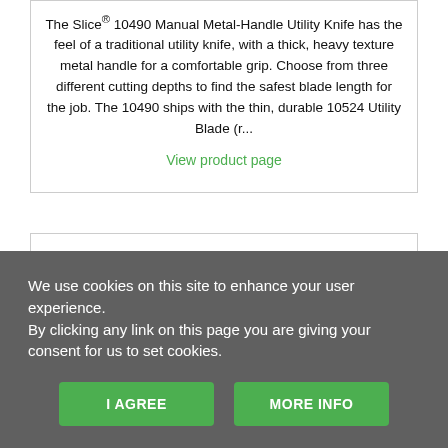The Slice® 10490 Manual Metal-Handle Utility Knife has the feel of a traditional utility knife, with a thick, heavy texture metal handle for a comfortable grip. Choose from three different cutting depths to find the safest blade length for the job. The 10490 ships with the thin, durable 10524 Utility Blade (r...
View product page
We use cookies on this site to enhance your user experience.
By clicking any link on this page you are giving your consent for us to set cookies.
I AGREE
MORE INFO